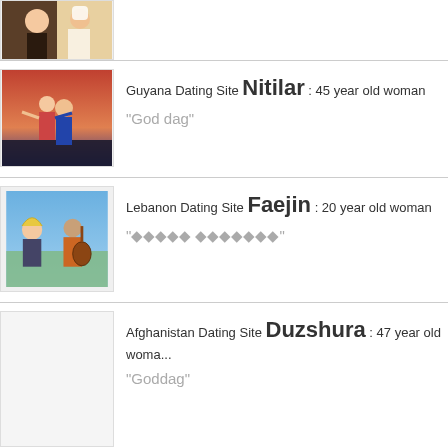[Figure (photo): Partial listing at top — cropped image of persons with popcorn]
[Figure (photo): Titanic movie-style couple photo for Nitilar listing]
Guyana Dating Site Nitilar : 45 year old woman
"God dag"
[Figure (photo): Comedy movie couple photo for Faejin listing]
Lebanon Dating Site Faejin : 20 year old woman
"????? ???????"
[Figure (photo): White/blank placeholder image for Duzshura listing]
Afghanistan Dating Site Duzshura : 47 year old woman
"Goddag"
[Figure (photo): Partial bottom listing image for Vukasa]
Tanzania, United Republic Of Dating Site Vukasa : 30 ye...